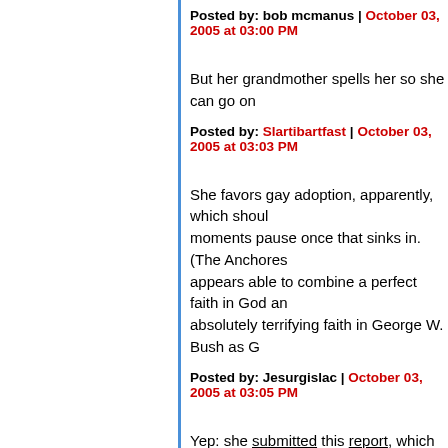Posted by: bob mcmanus | October 03, 2005 at 03:00 PM
But her grandmother spells her so she can go on
Posted by: Slartibartfast | October 03, 2005 at 03:03 PM
She favors gay adoption, apparently, which should make moments pause once that sinks in. (The Anchoress appears able to combine a perfect faith in God and absolutely terrifying faith in George W. Bush as G
Posted by: Jesurgislac | October 03, 2005 at 03:05 PM
Yep: she submitted this report, which includes no enactment of laws and public policy which provides not be a bar to adoption when the adoption is det interest of the child." -- but also this: "Recommends establishment of an International Criminal Court."
Heh.
Posted by: hilzoy | October 03, 2005 at 03:07 PM